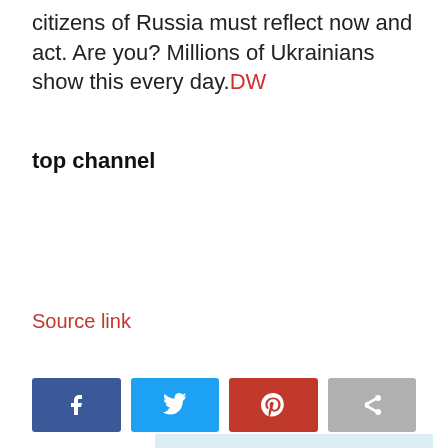citizens of Russia must reflect now and act. Are you? Millions of Ukrainians show this every day.DW
top channel
Source link
[Figure (other): Social sharing buttons: Facebook, Twitter, Pinterest, Share]
[Figure (other): Smart & Responsive ADVERTISEMENT banner with coffee and cherries imagery]